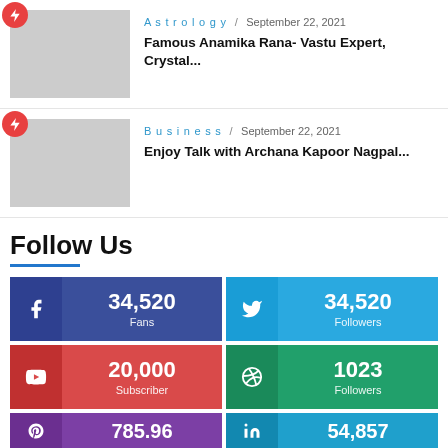[Figure (photo): Article thumbnail placeholder - gray rectangle with red bolt badge]
Astrology / September 22, 2021
Famous Anamika Rana- Vastu Expert, Crystal...
[Figure (photo): Article thumbnail placeholder - gray rectangle with red bolt badge]
Business / September 22, 2021
Enjoy Talk with Archana Kapoor Nagpal...
Follow Us
34,520 Fans (Facebook)
34,520 Followers (Twitter)
20,000 Subscriber (YouTube)
1023 Followers (Dribbble)
785.96 (Pinterest)
54,857 (LinkedIn)